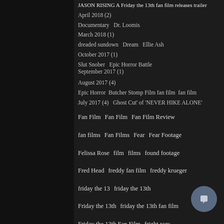JASON RISING A Friday the 13th fan film releases trailer
April 2018 (2)
Documentary   Dr. Loomis
March 2018 (1)
dreaded sundown   Dream   Ellie Ash
October 2017 (1)
Slut Snober   Epic Horror Battle
September 2017 (1)
August 2017 (4)
Epic Horror   Butcher Stomp Film fan film   fan film
July 2017 (4)
Ghost Cut' of 'NEVER HIKE ALONE'
Fan Film   Fan Film   Fan Film Review
fan films   Fan Films   Fear   Fear Footage
Felissa Rose   film   films   found footage
Fred Head   freddy fan film   freddy krueger
friday the 13   friday the 13th
Friday the 13th   friday the 13th fan film
Friday the 13th Fan Film   fright rags
ghost jason   gravestone   gravestone films
haddonfield   halloween
Follow Us